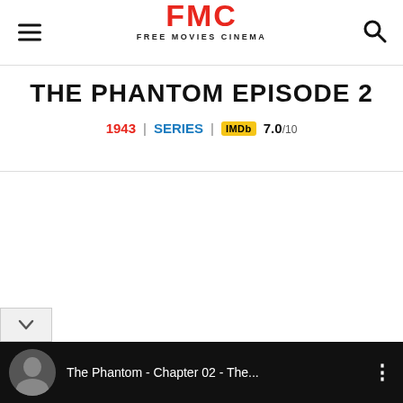FMC FREE MOVIES CINEMA
THE PHANTOM EPISODE 2
1943 | SERIES | IMDb 7.0/10
[Figure (screenshot): Video player thumbnail bar at bottom showing 'The Phantom - Chapter 02 - The...' with a circular thumbnail image on dark background]
The Phantom - Chapter 02 - The...